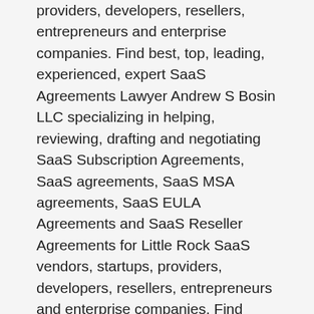providers, developers, resellers, entrepreneurs and enterprise companies. Find best, top, leading, experienced, expert SaaS Agreements Lawyer Andrew S Bosin LLC specializing in helping, reviewing, drafting and negotiating SaaS Subscription Agreements, SaaS agreements, SaaS MSA agreements, SaaS EULA Agreements and SaaS Reseller Agreements for Little Rock SaaS vendors, startups, providers, developers, resellers, entrepreneurs and enterprise companies. Find best, top, leading, experienced, expert SaaS Agreements Lawyer Andrew S Bosin LLC specializing in helping, reviewing, drafting and negotiating SaaS Subscription Agreements, SaaS agreements, SaaS MSA agreements, SaaS EULA Agreements and SaaS Reseller Agreements for Birmingham, Alabama SaaS vendors, startups, providers, developers, resellers, entrepreneurs and enterprise companies. Find best, top, leading, experienced, expert SaaS Agreements Lawyer Andrew S Bosin LLC specializing in helping, reviewing, drafting and negotiating SaaS Subscription